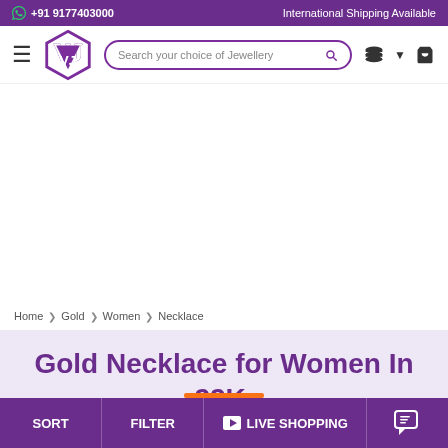+91 9177403000  International Shipping Available
[Figure (screenshot): Navigation bar with hamburger menu, VJ logo (purple V shape), search bar 'Search your choice of Jewellery', currency icon, and cart icon]
Home > Gold > Women > Necklace
Gold Necklace for Women In 22K, 18K and 14K
SORT  FILTER  LIVE SHOPPING  [chat icon]